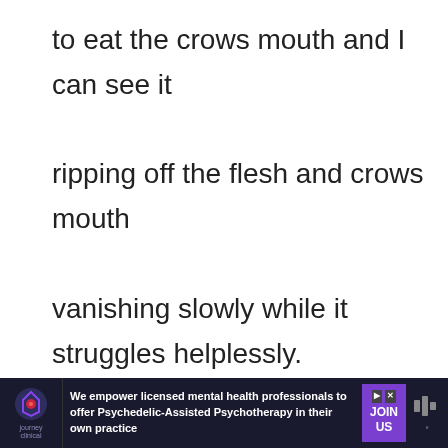to eat the crows mouth and I can see it ripping off the flesh and crows mouth vanishing slowly while it struggles helplessly. What does this dream means ?
[Figure (screenshot): Reply button — a rectangular button with border and text 'Reply']
[Figure (screenshot): Like/heart button circle (teal), count '1', and share button circle (teal) on the right side]
[Figure (screenshot): Comment section showing avatar (green/white diamond pattern circle), username 'StevenSte says:' and date 'May 8, 2019 at 11:37 pm']
[Figure (screenshot): Advertisement bar at bottom: Journey Clinical logo, text 'We empower licensed mental health professionals to offer Psychedelic-Assisted Psychotherapy in their own practice', JOIN US button, mute icon]